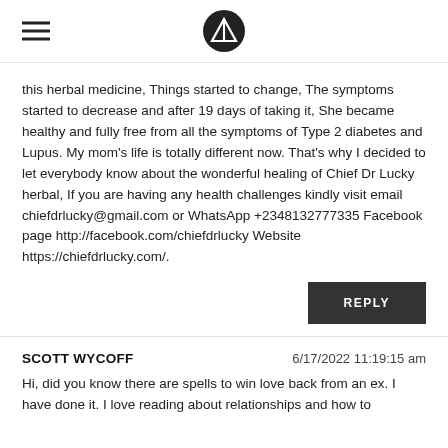[hamburger menu icon] [logo icon]
this herbal medicine, Things started to change, The symptoms started to decrease and after 19 days of taking it, She became healthy and fully free from all the symptoms of Type 2 diabetes and Lupus. My mom's life is totally different now. That's why I decided to let everybody know about the wonderful healing of Chief Dr Lucky herbal, If you are having any health challenges kindly visit email chiefdrlucky@gmail.com or WhatsApp +2348132777335 Facebook page http://facebook.com/chiefdrlucky Website https://chiefdrlucky.com/.
REPLY
SCOTT WYCOFF
6/17/2022 11:19:15 am
Hi, did you know there are spells to win love back from an ex. I have done it. I love reading about relationships and how to